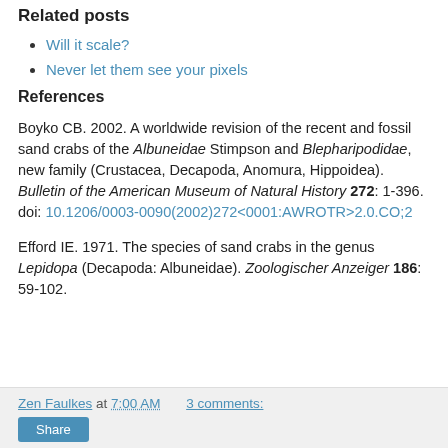Related posts
Will it scale?
Never let them see your pixels
References
Boyko CB. 2002. A worldwide revision of the recent and fossil sand crabs of the Albuneidae Stimpson and Blepharipodidae, new family (Crustacea, Decapoda, Anomura, Hippoidea). Bulletin of the American Museum of Natural History 272: 1-396. doi: 10.1206/0003-0090(2002)272<0001:AWROTR>2.0.CO;2
Efford IE. 1971. The species of sand crabs in the genus Lepidopa (Decapoda: Albuneidae). Zoologischer Anzeiger 186: 59-102.
Zen Faulkes at 7:00 AM   3 comments: